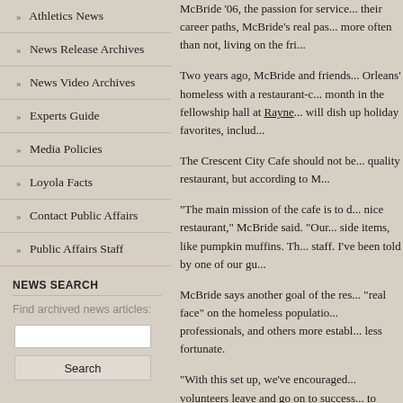Athletics News
News Release Archives
News Video Archives
Experts Guide
Media Policies
Loyola Facts
Contact Public Affairs
Public Affairs Staff
NEWS SEARCH
Find archived news articles:
McBride '06, the passion for service... their career paths, McBride's real pa... more often than not, living on the fri...
Two years ago, McBride and friends... Orleans' homeless with a restaurant-c... month in the fellowship hall at Rayne... will dish up holiday favorites, includ...
The Crescent City Cafe should not be... quality restaurant, but according to M...
“The main mission of the cafe is to d... nice restaurant,” McBride said. “Our... side items, like pumpkin muffins. Th... staff. I’ve been told by one of our gu...
McBride says another goal of the res... “real face” on the homeless populatio... professionals, and others more establ... less fortunate.
“With this set up, we’ve encouraged... volunteers leave and go on to success... to pigeonhole someone into a categor... than a problem.”